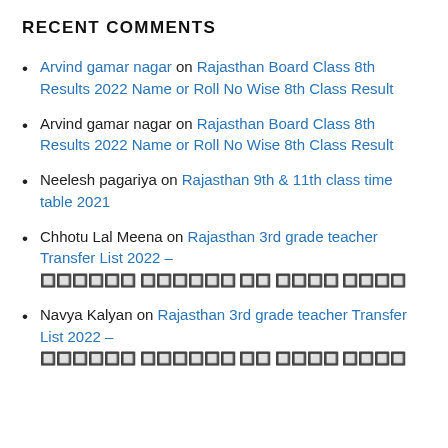RECENT COMMENTS
Arvind gamar nagar on Rajasthan Board Class 8th Results 2022 Name or Roll No Wise 8th Class Result
Arvind gamar nagar on Rajasthan Board Class 8th Results 2022 Name or Roll No Wise 8th Class Result
Neelesh pagariya on Rajasthan 9th & 11th class time table 2021
Chhotu Lal Meena on Rajasthan 3rd grade teacher Transfer List 2022 – [garbled text]
Navya Kalyan on Rajasthan 3rd grade teacher Transfer List 2022 – [garbled text]